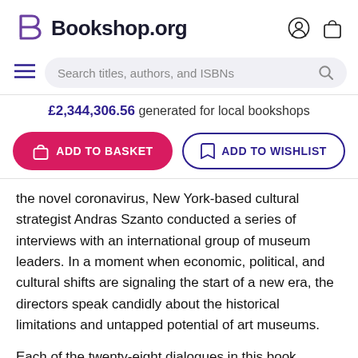Bookshop.org
£2,344,306.56 generated for local bookshops
ADD TO BASKET | ADD TO WISHLIST
the novel coronavirus, New York-based cultural strategist Andras Szanto conducted a series of interviews with an international group of museum leaders. In a moment when economic, political, and cultural shifts are signaling the start of a new era, the directors speak candidly about the historical limitations and untapped potential of art museums.
Each of the twenty-eight dialogues in this book explores a